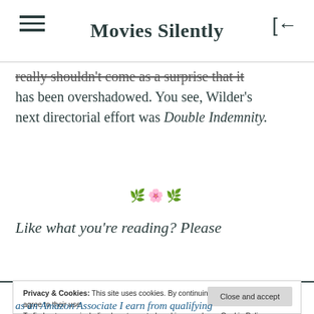Movies Silently
really shouldn't come as a surprise that it has been overshadowed. You see, Wilder's next directorial effort was Double Indemnity.
❧ ornament divider
Like what you're reading? Please
as an Amazon Associate I earn from qualifying